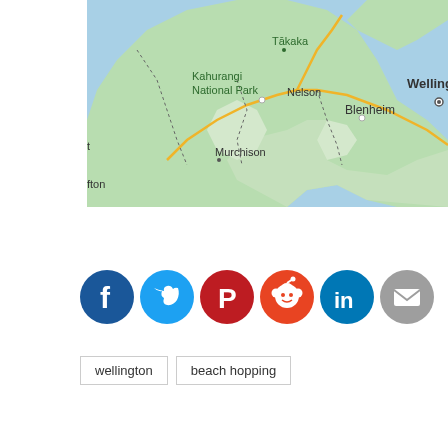[Figure (map): Google Maps style map showing the top of New Zealand's South Island including locations: Tākaka, Kahurangi National Park, Nelson, Blenheim, Murchison, and partial labels for Wellington (right edge) and other partial place names. Green land with blue water, dotted borders, and yellow road lines.]
[Figure (infographic): Row of social media share buttons: Facebook (dark blue circle with white F), Twitter (light blue circle with white bird), Pinterest (red circle with white P), Reddit (orange-red circle with white alien mascot), LinkedIn (blue circle with white 'in'), Email (gray circle with white envelope icon).]
wellington
beach hopping